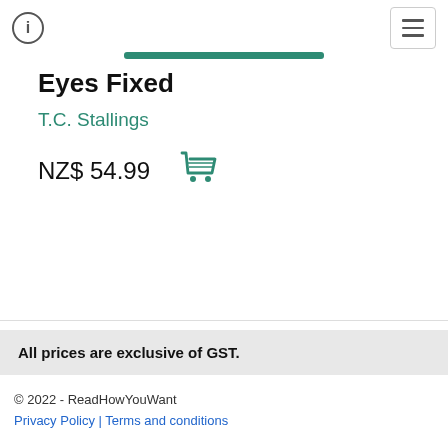Eyes Fixed
T.C. Stallings
NZ$ 54.99
All prices are exclusive of GST.
© 2022 - ReadHowYouWant
Privacy Policy | Terms and conditions